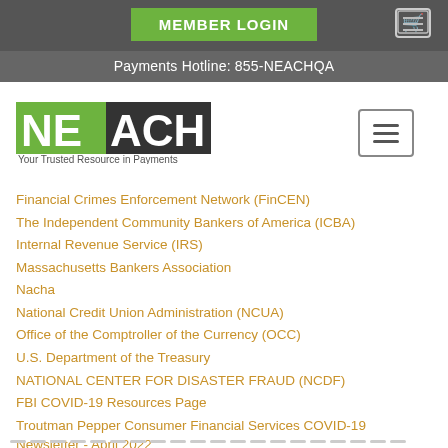MEMBER LOGIN | Payments Hotline: 855-NEACHQA
[Figure (logo): NEACH logo with tagline 'Your Trusted Resource in Payments']
Financial Crimes Enforcement Network (FinCEN)
The Independent Community Bankers of America (ICBA)
Internal Revenue Service (IRS)
Massachusetts Bankers Association
Nacha
National Credit Union Administration (NCUA)
Office of the Comptroller of the Currency (OCC)
U.S. Department of the Treasury
NATIONAL CENTER FOR DISASTER FRAUD (NCDF)
FBI COVID-19 Resources Page
Troutman Pepper Consumer Financial Services COVID-19 Newsletter - April 2022